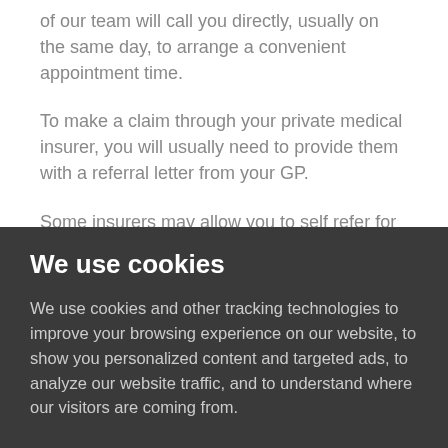of our team will call you directly, usually on the same day, to arrange a convenient appointment time.
To make a claim through your private medical insurer, you will usually need to provide them with a referral letter from your GP.
Some insurers may allow you to self refer for certain treatments such as physiotherapy. Your insurer will tell you which conditions and treatments require a referral letter.
We use cookies
We use cookies and other tracking technologies to improve your browsing experience on our website, to show you personalized content and targeted ads, to analyze our website traffic, and to understand where our visitors are coming from.